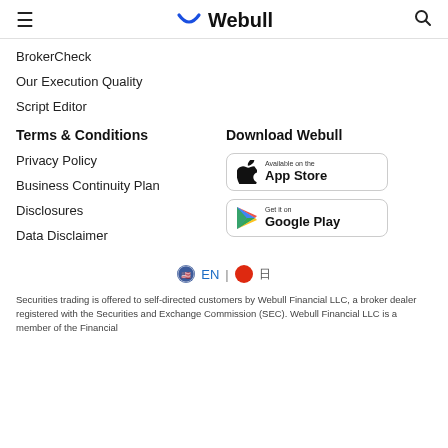Webull
BrokerCheck
Our Execution Quality
Script Editor
Terms & Conditions
Privacy Policy
Business Continuity Plan
Disclosures
Data Disclaimer
Download Webull
[Figure (logo): Available on the App Store badge]
[Figure (logo): Get it on Google Play badge]
EN | 🇨🇳 日
Securities trading is offered to self-directed customers by Webull Financial LLC, a broker dealer registered with the Securities and Exchange Commission (SEC). Webull Financial LLC is a member of the Financial...